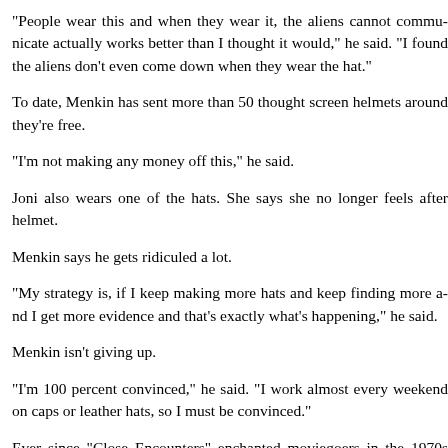"People wear this and when they wear it, the aliens cannot communicate actually works better than I thought it would," he said. "I found that the aliens don't even come down when they wear the hat."
To date, Menkin has sent more than 50 thought screen helmets around they're free.
"I'm not making any money off this," he said.
Joni also wears one of the hats. She says she no longer feels after with helmet.
Menkin says he gets ridiculed a lot.
"My strategy is, if I keep making more hats and keep finding more people I get more evidence and that's exactly what's happening," he said.
Menkin isn't giving up.
"I'm 100 percent convinced," he said. "I work almost every weekend on caps or leather hats, so I must be convinced."
Ever since "Close Encounters" enchanted moviegoers in the 1970s believers alike have been dreaming of the contact experience.